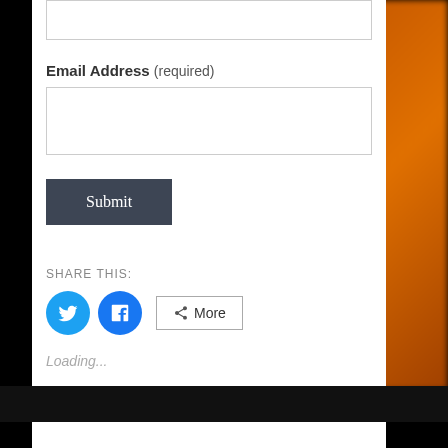Email Address (required)
[Figure (screenshot): Empty text input field for email address]
[Figure (screenshot): Submit button with dark gray background and white serif text]
SHARE THIS:
[Figure (screenshot): Twitter and Facebook circular icon buttons and a More button with share icon]
Loading...